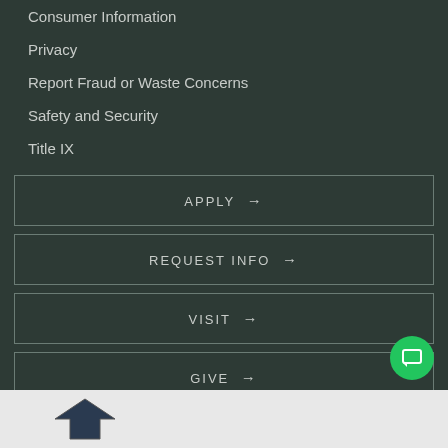Consumer Information
Privacy
Report Fraud or Waste Concerns
Safety and Security
Title IX
APPLY →
REQUEST INFO →
VISIT →
GIVE →
[Figure (logo): University logo in footer area]